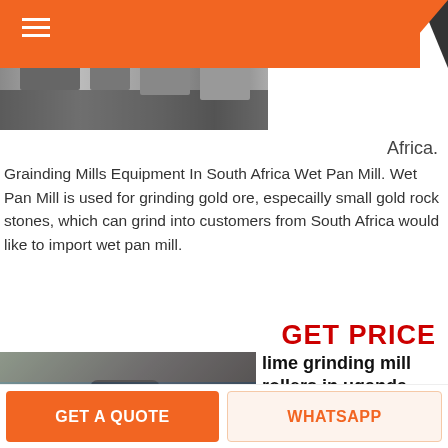[Figure (photo): Machinery equipment in industrial facility — top header image]
Africa.
Grainding Mills Equipment In South Africa Wet Pan Mill. Wet Pan Mill is used for grinding gold ore, especailly small gold rock stones, which can grind into customers from South Africa would like to import wet pan mill.
GET PRICE
[Figure (photo): Industrial grinding mill machines (large grey cylindrical mills) inside a factory/warehouse]
lime grinding mill rollers in uganda
lime

grinding

mill rollers
GET A QUOTE    WHATSAPP